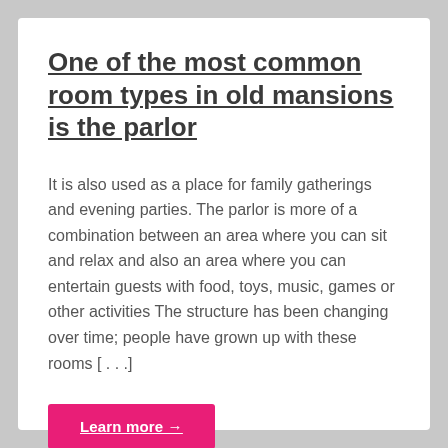One of the most common room types in old mansions is the parlor
It is also used as a place for family gatherings and evening parties. The parlor is more of a combination between an area where you can sit and relax and also an area where you can entertain guests with food, toys, music, games or other activities The structure has been changing over time; people have grown up with these rooms [...]
Learn more →